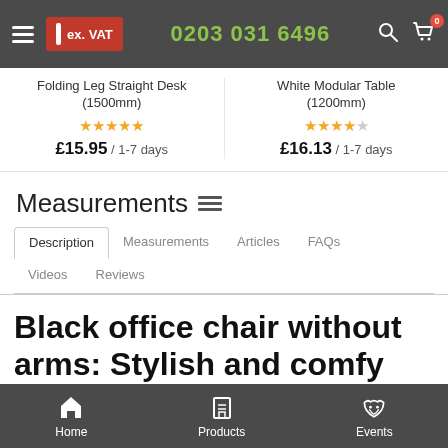ex. VAT  0203 031 6496
Folding Leg Straight Desk (1500mm)
★★★★★
£15.95 / 1-7 days
White Modular Table (1200mm)
★★★★½
£16.13 / 1-7 days
Measurements
Description | Measurements | Articles | FAQs | Videos | Reviews
Black office chair without arms: Stylish and comfy for
Home   Products   Events